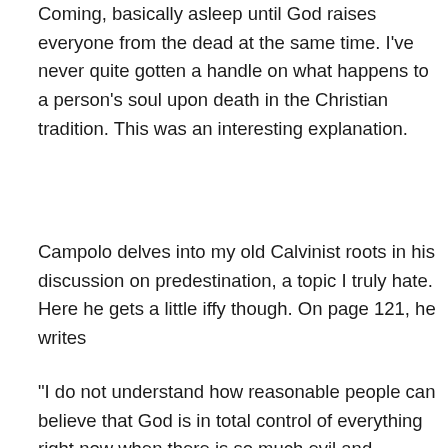Coming, basically asleep until God raises everyone from the dead at the same time. I've never quite gotten a handle on what happens to a person's soul upon death in the Christian tradition. This was an interesting explanation.
Campolo delves into my old Calvinist roots in his discussion on predestination, a topic I truly hate. Here he gets a little iffy though. On page 121, he writes
“I do not understand how reasonable people can believe that God is in total control of everything right now when there is so much evil and injustice in the world. I grant that this may be a failure on my part, but if I believed that God controlled everything that goes on in the universe these days, I would not know how to explain why innocent children in Africa get AIDS, or why godly people die of cancer, or why there was ever an Auschwitz or a